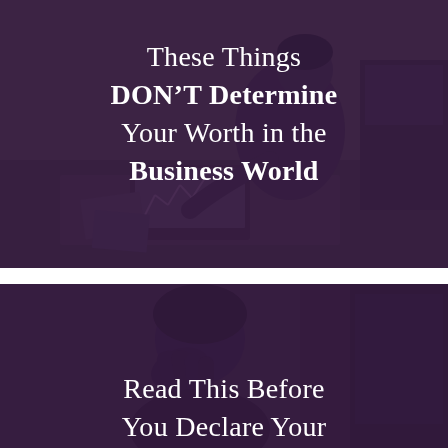[Figure (photo): Top card: dark purple-overlaid photo of a woman sitting on the floor working on a laptop with papers/charts, with white text overlay reading the article title]
These Things DON'T Determine Your Worth in the Business World
[Figure (photo): Bottom card: dark purple-overlaid photo of a person with hand near face (pensive/worried look), with white text overlay beginning the second article title]
Read This Before You Declare Your